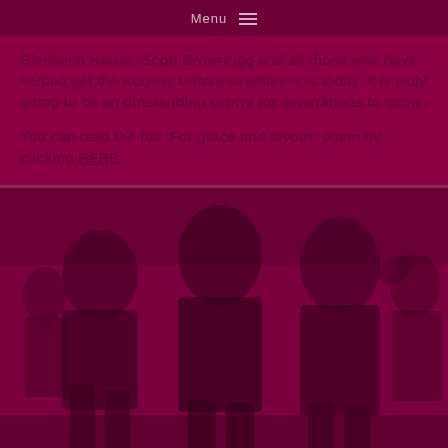Menu
Blenheim House, Scott Brownrigg and all those who have helped get the Activity Centre to where it is today, it is truly going to be an outstanding centre for generations to come.
You can read the full ‘For grace and favour’ poem by clicking HERE.
[Figure (photo): A dark maroon-tinted photo showing silhouettes of people at what appears to be a social gathering or event, overlaid with a deep magenta/burgundy color filter.]